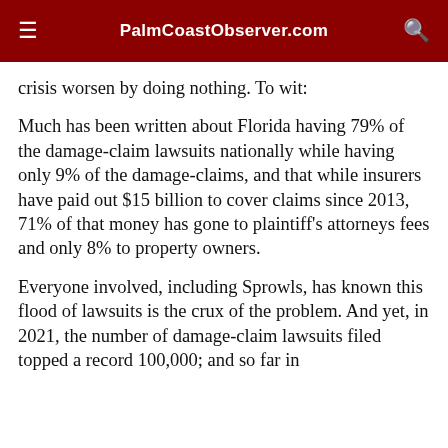PalmCoastObserver.com
crisis worsen by doing nothing. To wit:
Much has been written about Florida having 79% of the damage-claim lawsuits nationally while having only 9% of the damage-claims, and that while insurers have paid out $15 billion to cover claims since 2013, 71% of that money has gone to plaintiff's attorneys fees and only 8% to property owners.
Everyone involved, including Sprowls, has known this flood of lawsuits is the crux of the problem. And yet, in 2021, the number of damage-claim lawsuits filed topped a record 100,000; and so far in